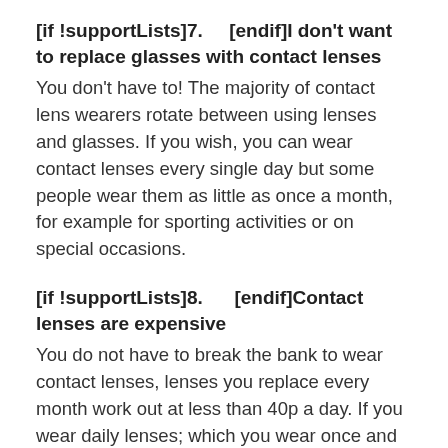[if !supportLists]7.    [endif]I don't want to replace glasses with contact lenses
You don't have to! The majority of contact lens wearers rotate between using lenses and glasses. If you wish, you can wear contact lenses every single day but some people wear them as little as once a month, for example for sporting activities or on special occasions.
[if !supportLists]8.     [endif]Contact lenses are expensive
You do not have to break the bank to wear contact lenses, lenses you replace every month work out at less than 40p a day. If you wear daily lenses; which you wear once and then throw away, they are available from less than £1 a day.